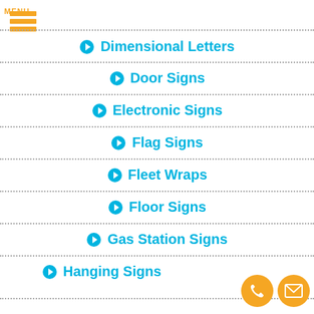[Figure (logo): Orange hamburger menu icon with three horizontal bars and MENU label]
Dimensional Letters
Door Signs
Electronic Signs
Flag Signs
Fleet Wraps
Floor Signs
Gas Station Signs
Hanging Signs
[Figure (illustration): Orange circle phone contact button and orange circle email contact button at bottom right]